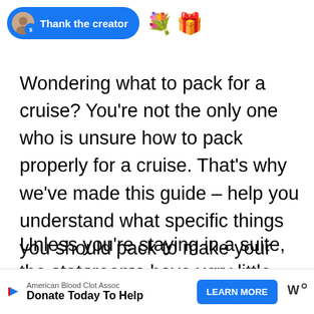[Figure (screenshot): Blue 'Thank the creator' button with user avatar and badge, followed by flower emoji and gift box emoji]
Wondering what to pack for a cruise? You're not the only one who is unsure how to pack properly for a cruise. That's why we've made this guide – help you understand what specific things you should pack to make your time on board easy and more convenient.
Unless you're staying in a suite, the staterooms have very little storage space, so packing light should be at the top of your list.
[Figure (screenshot): Advertisement bar: American Blood Clot Assoc – Donate Today To Help – LEARN MORE button – W logo]